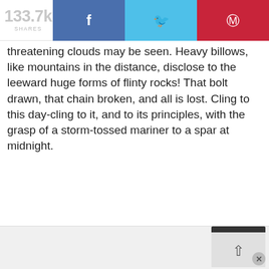[Figure (screenshot): Social share bar showing 133.7k shares, with Facebook (blue), Twitter (cyan), and Pinterest (red) share buttons]
threatening clouds may be seen. Heavy billows, like mountains in the distance, disclose to the leeward huge forms of flinty rocks! That bolt drawn, that chain broken, and all is lost. Cling to this day-cling to it, and to its principles, with the grasp of a storm-tossed mariner to a spar at midnight.
[Figure (screenshot): Bottom UI bar with scroll-to-top button and close (x) button]